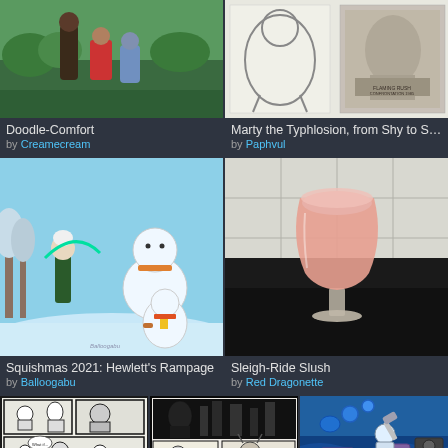[Figure (illustration): Animated style artwork showing characters, Doodle-Comfort]
[Figure (illustration): Sketch/line art of Marty the Typhlosion character with statue reference]
Doodle-Comfort
by Creamecream
Marty the Typhlosion, from Shy to S…
by Paphvul
[Figure (illustration): Squishmas 2021 scene with snowman and character in winter setting]
[Figure (photo): Photo of pink sleigh-ride slush drink in a glass on dark surface]
Squishmas 2021: Hewlett's Rampage
by Balloogabu
Sleigh-Ride Slush
by Red Dragonette
[Figure (illustration): Black and white comic pages]
[Figure (illustration): Black and white comic pages with dark imagery]
[Figure (illustration): Animated style game art with character wielding hammer]